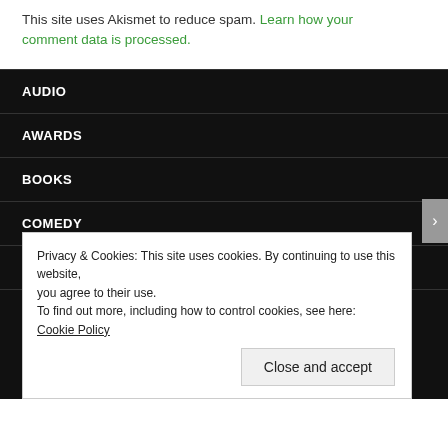This site uses Akismet to reduce spam. Learn how your comment data is processed.
AUDIO
AWARDS
BOOKS
COMEDY
FILMS
Privacy & Cookies: This site uses cookies. By continuing to use this website, you agree to their use. To find out more, including how to control cookies, see here: Cookie Policy
Close and accept